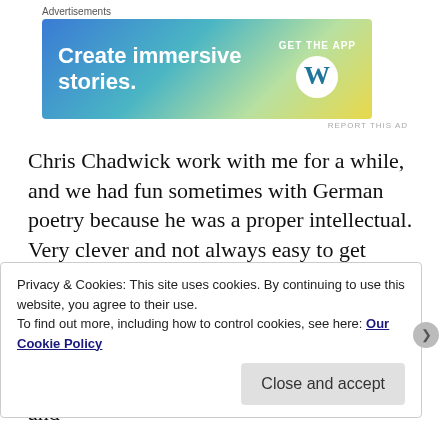Advertisements
[Figure (other): WordPress advertisement banner with gradient background (blue to yellow-green). Text reads 'Create immersive stories.' with 'GET THE APP' and WordPress logo on the right.]
REPORT THIS AD
Chris Chadwick work with me for a while, and we had fun sometimes with German poetry because he was a proper intellectual. Very clever and not always easy to get along with. He's not in Poland now and we are all the poorer for it.
Goethe's poems are the order of the day here, with Erlkoenig recited by Christopher and
Privacy & Cookies: This site uses cookies. By continuing to use this website, you agree to their use.
To find out more, including how to control cookies, see here: Our Cookie Policy
Close and accept